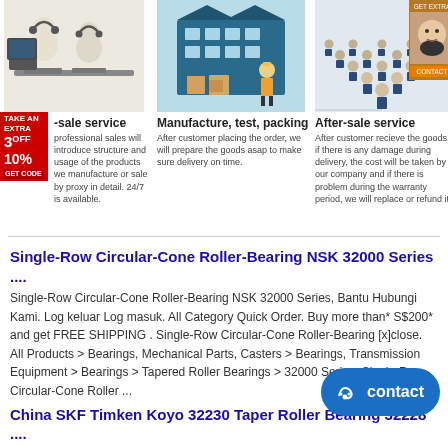[Figure (illustration): Three white 3D figures wearing headsets working at computers - pre-sale service illustration]
[Figure (illustration): Cartoon factory/warehouse building with a worker in hard hat - Manufacture, test, packing illustration]
[Figure (illustration): Group of people in blue uniforms arranged in a V shape - After-sale service illustration]
Pre-sale service
professional sales will introduce structure and usage of the products we manufacture or sale by proxy in detail. 24/7 is available.
Manufacture, test, packing
After customer placing the order, we will prepare the goods asap to make sure delivery on time.
After-sale service
After customer recieve the goods, if there is any damage during delivery, the cost will be taken by our company and if there is problem during the warranty period, we will replace or refund it.
Single-Row Circular-Cone Roller-Bearing NSK 32000 Series ....
Single-Row Circular-Cone Roller-Bearing NSK 32000 Series, Bantu Hubungi Kami. Log keluar Log masuk. All Category Quick Order. Buy more than* S$200* and get FREE SHIPPING . Single-Row Circular-Cone Roller-Bearing [x]close. All Products > Bearings, Mechanical Parts, Casters > Bearings, Transmission Equipment > Bearings > Tapered Roller Bearings > 32000 Series. Single-Row Circular-Cone Roller ...
China SKF Timken Koyo 32230 Taper Roller Bearing 32228 ....